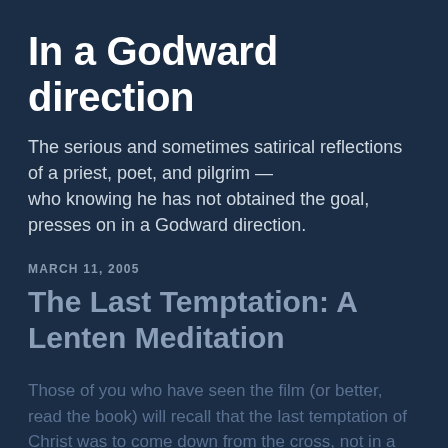In a Godward direction
The serious and sometimes satirical reflections of a priest, poet, and pilgrim — who knowing he has not obtained the goal, presses on in a Godward direction.
MARCH 11, 2005
The Last Temptation: A Lenten Meditation
Those of you who have seen the film (or better, read the book) will recall that the last temptation of Christ was to come down from the cross, not in a show of spectacular deliverance with legions of angels but renunciation of his messiahship to take up life as a simple Galilean carpenter, married with children, ending his life in obscurity. As we know,